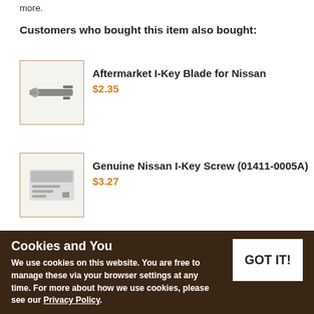more.
Customers who bought this item also bought:
[Figure (photo): Product photo of Aftermarket I-Key Blade for Nissan]
Aftermarket I-Key Blade for Nissan
$2.35
[Figure (photo): Product photo of Genuine Nissan I-Key Screw (01411-0005A)]
Genuine Nissan I-Key Screw (01411-0005A)
$3.27
CONTINUE SHOPPING
ADD TO WISH LIST
Cookies and You
We use cookies on this website. You are free to manage these via your browser settings at any time. For more about how we use cookies, please see our Privacy Policy.
GOT IT!
Related Products